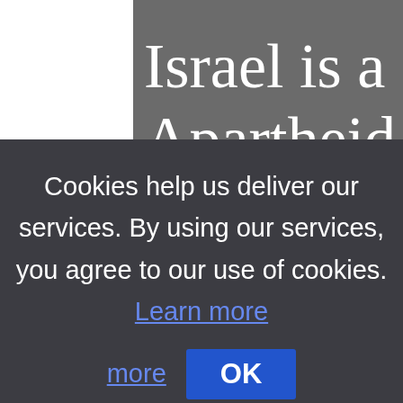[Figure (screenshot): Partial screenshot of a webpage showing large serif white text 'Israel is a' and 'Apartheid St' on a dark grey background, partially obscured by a cookie consent banner overlay.]
Cookies help us deliver our services. By using our services, you agree to our use of cookies. Learn more OK